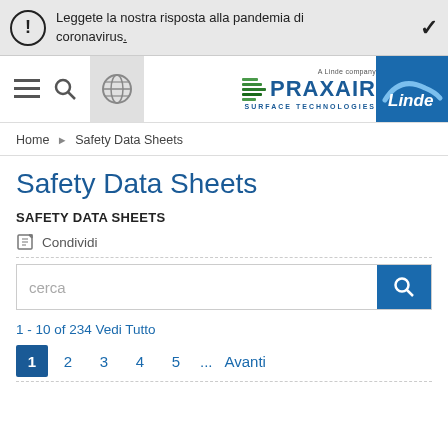Leggete la nostra risposta alla pandemia di coronavirus.
[Figure (screenshot): Praxair Surface Technologies and Linde navigation bar with menu, search, and globe icons]
Home ▶ Safety Data Sheets
Safety Data Sheets
SAFETY DATA SHEETS
Condividi
cerca
1 - 10 of 234 Vedi Tutto
1  2  3  4  5  ...  Avanti